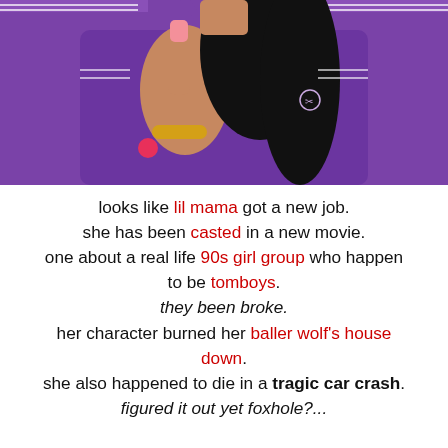[Figure (photo): Person wearing a purple polo shirt with white collar stripes, holding up a finger with a long pink nail, with black hair, gold bracelets on wrist, and a small logo on the shirt.]
looks like lil mama got a new job. she has been casted in a new movie. one about a real life 90s girl group who happen to be tomboys. they been broke. her character burned her baller wolf's house down. she also happened to die in a tragic car crash. figured it out yet foxhole?...